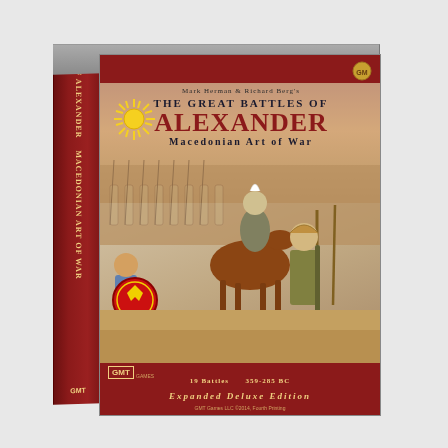[Figure (photo): Product photo of 'The Great Battles of Alexander: Macedonian Art of War' board game box set by GMT Games. Expanded Deluxe Edition with 19 Battles, 359-285 BC. Box designed by Mark Herman and Richard Berg. Front face shows illustrated warriors, a horseman, and Alexander the Great with spears. Red top and bottom bars. Side spine in red shows tilted title text. Box top face visible. GMT Games LLC 2014, Fourth Printing.]